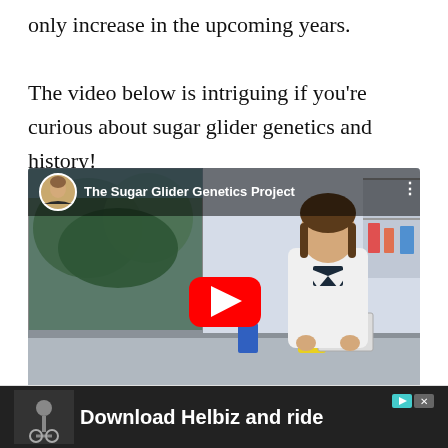only increase in the upcoming years.

The video below is intriguing if you’re curious about sugar glider genetics and history!
[Figure (screenshot): YouTube video thumbnail titled 'The Sugar Glider Genetics Project' showing a woman in a white lab coat sitting in a laboratory. A red YouTube play button is centered on the video. A circular channel avatar of a woman is shown in the top-left corner of the video player.]
[Figure (screenshot): Advertisement banner at the bottom: dark background with white bold text reading 'Download Helbiz and ride'. Small teal play icon and grey X close icon in the top-right corner of the ad.]